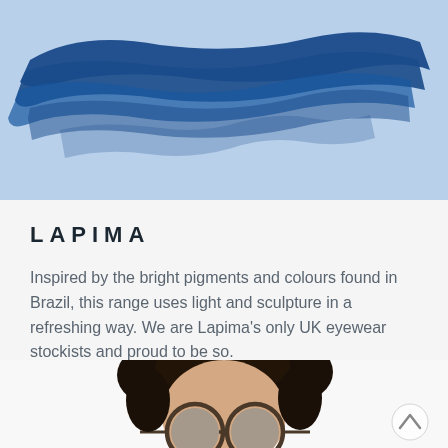[Figure (illustration): Light blue background with a bold dark blue paint brush stroke across the center]
LAPIMA
Inspired by the bright pigments and colours found in Brazil, this range uses light and sculpture in a refreshing way. We are Lapima's only UK eyewear stockists and proud to be so.
[Figure (photo): Person with dark curly hair wearing round tortoiseshell sunglasses with grey lenses, cropped to show forehead and eyes]